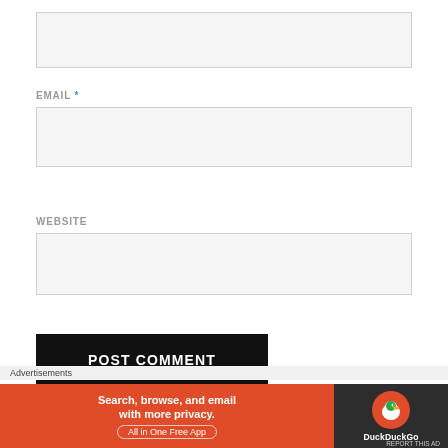[Figure (screenshot): A web form with text input fields for EMAIL and WEBSITE, a POST COMMENT button, a notify checkbox, a close button, and a DuckDuckGo advertisement banner at the bottom.]
EMAIL *
WEBSITE
POST COMMENT
Notify me of new comments via email.
Advertisements
Search, browse, and email with more privacy. All in One Free App
DuckDuckGo
REPORT THIS AD